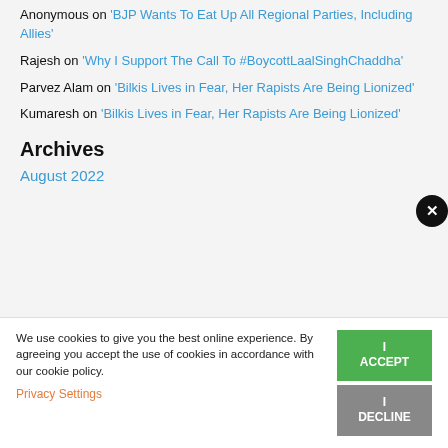Anonymous on 'BJP Wants To Eat Up All Regional Parties, Including Allies'
Rajesh on 'Why I Support The Call To #BoycottLaalSinghChaddha'
Parvez Alam on 'Bilkis Lives in Fear, Her Rapists Are Being Lionized'
Kumaresh on 'Bilkis Lives in Fear, Her Rapists Are Being Lionized'
Archives
August 2022
We use cookies to give you the best online experience. By agreeing you accept the use of cookies in accordance with our cookie policy.
Privacy Settings
I ACCEPT
I DECLINE